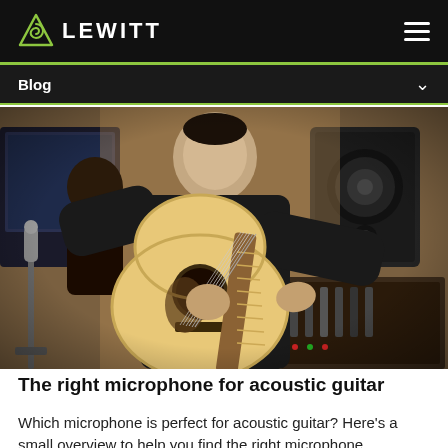LEWITT
Blog
[Figure (photo): A man in a black long-sleeve shirt playing an acoustic guitar in a recording studio. A studio monitor speaker and mixing console are visible in the background. Another person is visible behind him near computer monitors. A microphone stand is positioned near the guitar.]
The right microphone for acoustic guitar
Which microphone is perfect for acoustic guitar? Here's a small overview to help you find the right microphone